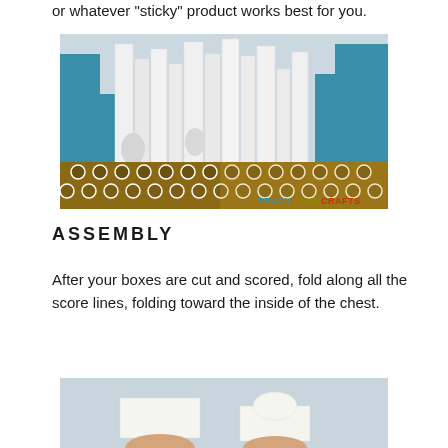or whatever "sticky" product works best for you.
[Figure (photo): Craft photo showing layered paper city/castle shapes in white and teal/blue colors on top, with decorative brown and gold circular pattern pieces at the bottom, watermarked with TRACYLYNNCRAFTS]
ASSEMBLY
After your boxes are cut and scored, fold along all the score lines, folding toward the inside of the chest.
[Figure (photo): Photo showing white paper/cardstock pieces being held by hands against a light blue-grey background, demonstrating folding of cut box pieces]